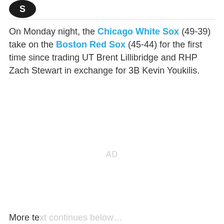[Figure (logo): Partial logo/icon visible at top left]
On Monday night, the Chicago White Sox (49-39) take on the Boston Red Sox (45-44) for the first time since trading UT Brent Lillibridge and RHP Zach Stewart in exchange for 3B Kevin Youkilis.
AD
More text continues below (partially visible)